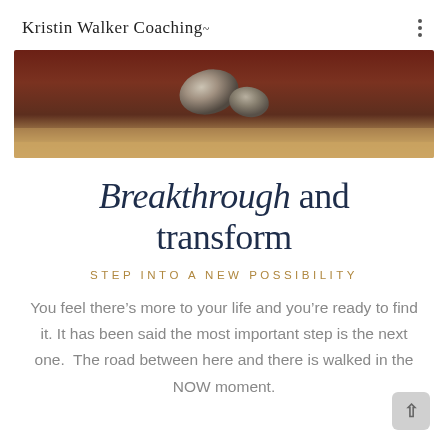Kristin Walker Coaching
[Figure (photo): Overhead or close-up photo of smooth stones on a wooden surface with warm brown tones]
Breakthrough and transform
STEP INTO A NEW POSSIBILITY
You feel there’s more to your life and you’re ready to find it. It has been said the most important step is the next one.  The road between here and there is walked in the NOW moment.